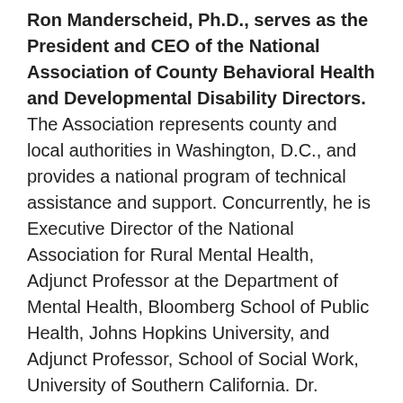Ron Manderscheid, Ph.D., serves as the President and CEO of the National Association of County Behavioral Health and Developmental Disability Directors. The Association represents county and local authorities in Washington, D.C., and provides a national program of technical assistance and support. Concurrently, he is Executive Director of the National Association for Rural Mental Health, Adjunct Professor at the Department of Mental Health, Bloomberg School of Public Health, Johns Hopkins University, and Adjunct Professor, School of Social Work, University of Southern California. Dr. Manderscheid serves on the boards of the Cosmos Club, the Employee Assistance Research Foundation, the Danya Institute, the Council on